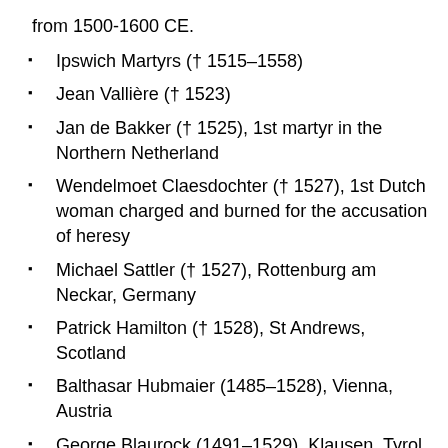from 1500-1600 CE.
Ipswich Martyrs († 1515–1558)
Jean Vallière († 1523)
Jan de Bakker († 1525), 1st martyr in the Northern Netherland
Wendelmoet Claesdochter († 1527), 1st Dutch woman charged and burned for the accusation of heresy
Michael Sattler († 1527), Rottenburg am Neckar, Germany
Patrick Hamilton († 1528), St Andrews, Scotland
Balthasar Hubmaier (1485–1528), Vienna, Austria
George Blaurock (1491–1529), Klausen, Tyrol
Thomas Hitton († 1530), Maidstone, England
Richard Bayfield († 1531), Smithfield, England
Thomas Benet († 1531), Exeter, England